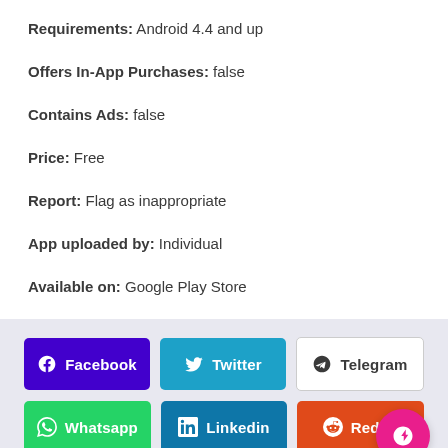Requirements: Android 4.4 and up
Offers In-App Purchases: false
Contains Ads: false
Price: Free
Report: Flag as inappropriate
App uploaded by: Individual
Available on: Google Play Store
[Figure (infographic): Row of social share buttons: Facebook (purple), Twitter (cyan), Telegram (white/gray), Whatsapp (green), Linkedin (blue), Reddit (orange-red). Pink circular FAB button with rocket icon at bottom right.]